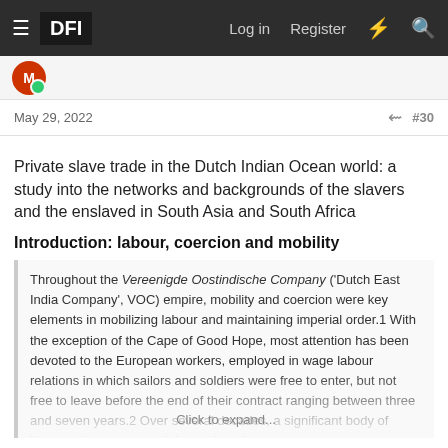≡ DFI  Log in  Register  ⚡ 🔍
May 29, 2022  #30
Private slave trade in the Dutch Indian Ocean world: a study into the networks and backgrounds of the slavers and the enslaved in South Asia and South Africa
Introduction: labour, coercion and mobility
Throughout the Vereenigde Oostindische Company ('Dutch East India Company', VOC) empire, mobility and coercion were key elements in mobilizing labour and maintaining imperial order.1 With the exception of the Cape of Good Hope, most attention has been devoted to the European workers, employed in wage labour relations in which sailors and soldiers were free to enter, but not free to leave before the end of their contract ranging between three and seven years.2 Over several decades, a significant body of literature has excavated the work and
Click to expand...
Regulation and administration of the (private) slave trade